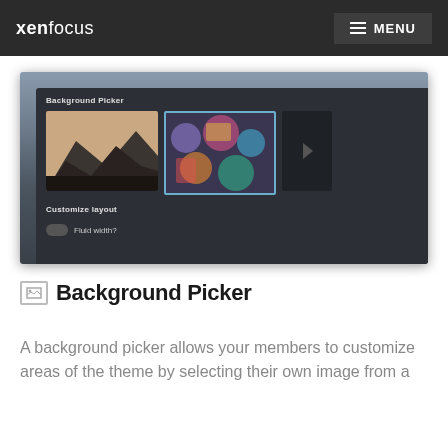xenfocus | MENU
[Figure (screenshot): Screenshot of a dark-themed UI panel showing 'Background Picker' with two landscape image thumbnails and 'Customize layout' section with 'Fluid width?' toggle]
Background Picker
A background picker allows your members to customize areas of the theme by selecting their own image from a